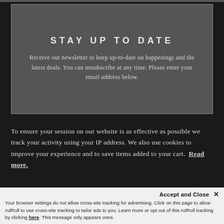STAY UP TO DATE
Receive our newsletter to keep up-to-date on happenings and the latest deals. You can unsubscribe at any time. Please enter your email address below.
To ensure your session on our website is as effective as possible we track your activity using your IP address. We also use cookies to improve your experience and to save items added to your cart. Read more.
Accept and Close ✕
Your browser settings do not allow cross-site tracking for advertising. Click on this page to allow AdRoll to use cross-site tracking to tailor ads to you. Learn more or opt out of this AdRoll tracking by clicking here. This message only appears once.